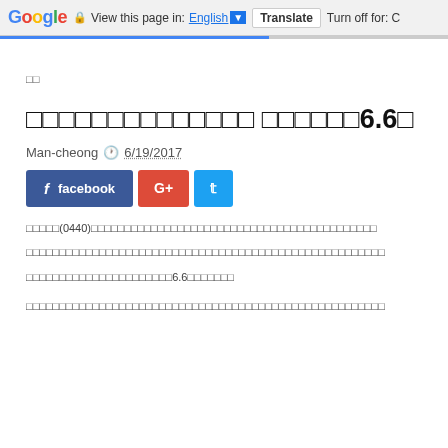Google  View this page in: English [▼]  Translate  Turn off for: C
□□
□□□□□□□□□□□□□□ □□□□□□6.6□
Man-cheong  🕐 6/19/2017
[Figure (other): Social share buttons: facebook, Google+, Twitter]
□□□□□(0440)□□□□□□□□□□□□□□□□□□□□□□□□□□□□□□□□□□□□□□□□□□□□□□□□□□□□□□□□□□□□□□□□□□□□□□□□□□□□□□□□□□□□□□□□□□□□□□□□□□□□□□□□□□□□□□□□□□6.6□□□□□□□□
□□□□□□□□□□□□□□□□□□□□□□□□□□□□□□□□□□□□□□□□□□□□□□□□□□□□□□□□□□□□□□□□□□□□□□□□□□□□□□□□□□□□□□□□□□□□□□□□□□□□□□□□□□□□□□□□□□□□□□□□□□□□□□□□□□□□□□□□□□□□□□□□□□